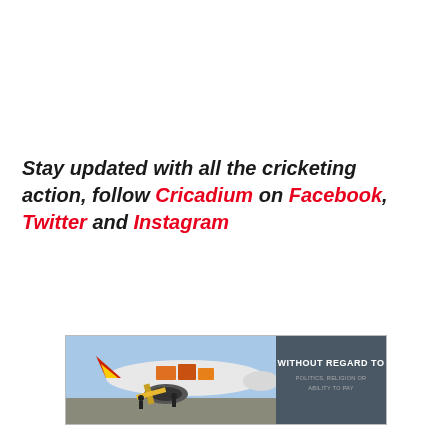Stay updated with all the cricketing action, follow Cricadium on Facebook, Twitter and Instagram
[Figure (photo): Advertisement banner showing an airplane being loaded with cargo on the tarmac, with text 'WITHOUT REGARD TO POLITICS, RELIGION OR ABILITY TO PAY' on the right side over a dark background.]